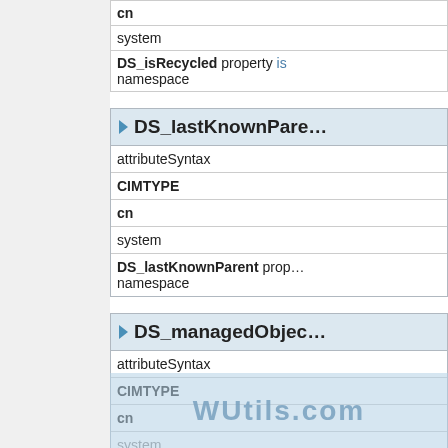| cn |
| system |
| DS_isRecycled property is | namespace |
DS_lastKnownParent
| attributeSyntax |
| CIMTYPE |
| cn |
| system |
| DS_lastKnownParent prop | namespace |
DS_managedObject
| attributeSyntax |
| CIMTYPE |
| cn |
| system |
| DS_managedObject | namespace |